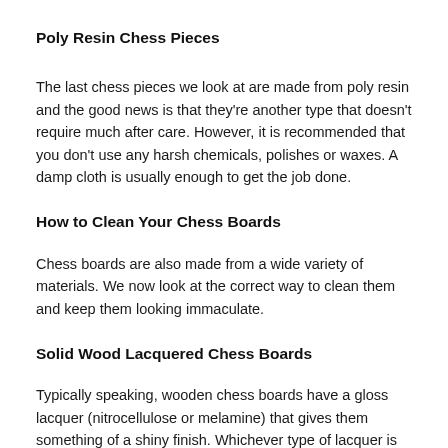Poly Resin Chess Pieces
The last chess pieces we look at are made from poly resin and the good news is that they're another type that doesn't require much after care. However, it is recommended that you don't use any harsh chemicals, polishes or waxes. A damp cloth is usually enough to get the job done.
How to Clean Your Chess Boards
Chess boards are also made from a wide variety of materials. We now look at the correct way to clean them and keep them looking immaculate.
Solid Wood Lacquered Chess Boards
Typically speaking, wooden chess boards have a gloss lacquer (nitrocellulose or melamine) that gives them something of a shiny finish. Whichever type of lacquer is used, dirt can grime can be easily cleaned away with a